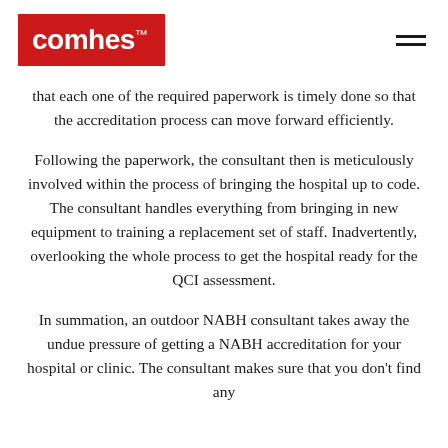comhes™
that each one of the required paperwork is timely done so that the accreditation process can move forward efficiently.
Following the paperwork, the consultant then is meticulously involved within the process of bringing the hospital up to code. The consultant handles everything from bringing in new equipment to training a replacement set of staff. Inadvertently, overlooking the whole process to get the hospital ready for the QCI assessment.
In summation, an outdoor NABH consultant takes away the undue pressure of getting a NABH accreditation for your hospital or clinic. The consultant makes sure that you don't find any